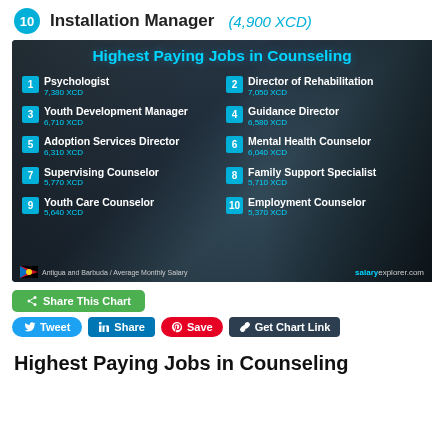10  Installation Manager  (4,900 XCD)
[Figure (infographic): Infographic titled 'Highest Paying Jobs in Counseling' showing top 10 jobs with salaries in XCD for Antigua and Barbuda. 1. Psychologist 7,380 XCD, 2. Director of Rehabilitation 7,050 XCD, 3. Youth Development Manager 6,710 XCD, 4. Guidance Director 6,580 XCD, 5. Adoption Services Director 6,310 XCD, 6. Mental Health Counselor 6,040 XCD, 7. Supervising Counselor 5,770 XCD, 8. Family Support Specialist 5,710 XCD, 9. Youth Care Counselor 5,640 XCD, 10. Employment Counselor 5,370 XCD. Source: salaryexplorer.com]
Share This Chart  Tweet  Share  Save  Get Chart Link
Highest Paying Jobs in Counseling